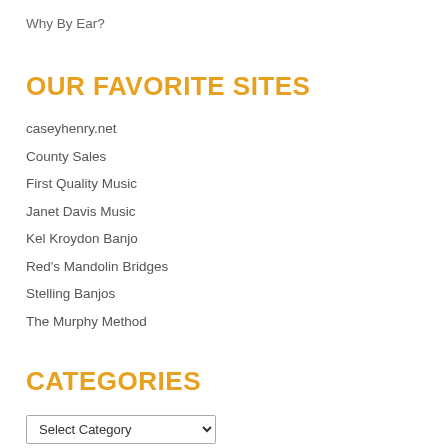Why By Ear?
OUR FAVORITE SITES
caseyhenry.net
County Sales
First Quality Music
Janet Davis Music
Kel Kroydon Banjo
Red's Mandolin Bridges
Stelling Banjos
The Murphy Method
CATEGORIES
Select Category
LOGIN/REGISTER